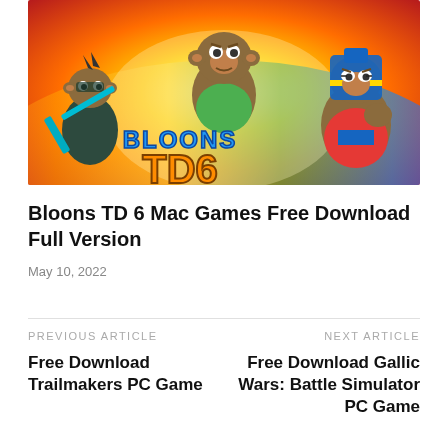[Figure (illustration): Bloons TD 6 game promotional image showing three cartoon monkey characters against a colorful rainbow background with the Bloons TD 6 logo in the center]
Bloons TD 6 Mac Games Free Download Full Version
May 10, 2022
PREVIOUS ARTICLE
Free Download Trailmakers PC Game
NEXT ARTICLE
Free Download Gallic Wars: Battle Simulator PC Game